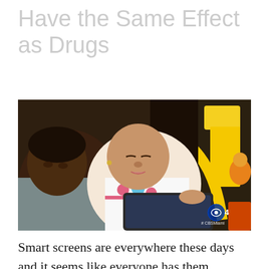Have the Same Effect as Drugs
[Figure (photo): A father and young daughter looking at a tablet device together. The girl wears a pink headband and floral shirt. Colorful toys are visible in the background. CBS4 / #CBSMiami watermark in lower right corner.]
Smart screens are everywhere these days and it seems like everyone has them including young kids. The debate over 'how much screen time is